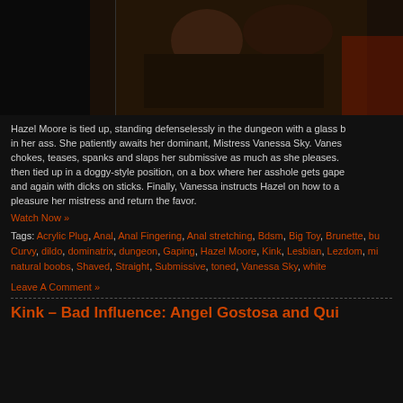[Figure (photo): Photo of two people in a dark dungeon setting]
Hazel Moore is tied up, standing defenselessly in the dungeon with a glass b in her ass. She patiently awaits her dominant, Mistress Vanessa Sky. Vanes chokes, teases, spanks and slaps her submissive as much as she pleases. then tied up in a doggy-style position, on a box where her asshole gets gape and again with dicks on sticks. Finally, Vanessa instructs Hazel on how to a pleasure her mistress and return the favor.
Watch Now »
Tags: Acrylic Plug, Anal, Anal Fingering, Anal stretching, Bdsm, Big Toy, Brunette, bu Curvy, dildo, dominatrix, dungeon, Gaping, Hazel Moore, Kink, Lesbian, Lezdom, mi natural boobs, Shaved, Straight, Submissive, toned, Vanessa Sky, white
Leave A Comment »
Kink – Bad Influence: Angel Gostosa and Qui...